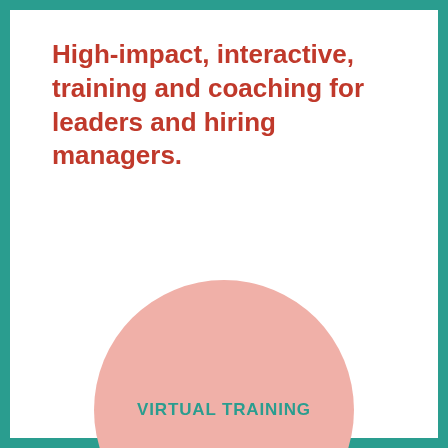High-impact, interactive, training and coaching for leaders and hiring managers.
[Figure (infographic): Large pink circle with teal text 'VIRTUAL TRAINING' centered inside it, and a partial pink circle visible at the bottom of the page.]